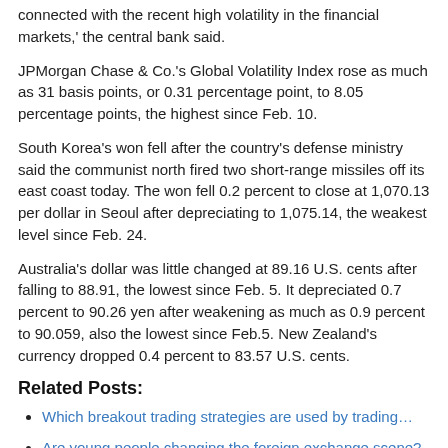connected with the recent high volatility in the financial markets,' the central bank said.
JPMorgan Chase & Co.'s Global Volatility Index rose as much as 31 basis points, or 0.31 percentage point, to 8.05 percentage points, the highest since Feb. 10.
South Korea's won fell after the country's defense ministry said the communist north fired two short-range missiles off its east coast today. The won fell 0.2 percent to close at 1,070.13 per dollar in Seoul after depreciating to 1,075.14, the weakest level since Feb. 24.
Australia's dollar was little changed at 89.16 U.S. cents after falling to 88.91, the lowest since Feb. 5. It depreciated 0.7 percent to 90.26 yen after weakening as much as 0.9 percent to 90.059, also the lowest since Feb.5. New Zealand's currency dropped 0.4 percent to 83.57 U.S. cents.
Related Posts:
Which breakout trading strategies are used by trading…
Are young people changing the foreign exchange scene?
Social Trading Platforms To Invest In 2020
Best Binary Option Robot Review 2020
Reasons why Making a Trading Checklist is Important